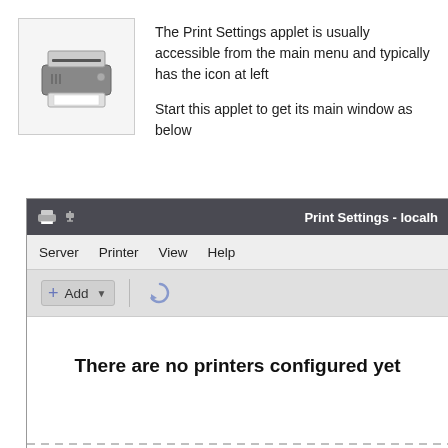[Figure (screenshot): Printer icon — a gray laser printer on a light gray background inside a bordered box]
The Print Settings applet is usually accessible from the main menu and typically has the icon at left
Start this applet to get its main window as below
[Figure (screenshot): Screenshot of the Print Settings application window showing a dark title bar with 'Print Settings - localh…', a menu bar with Server, Printer, View, Help menus, a toolbar with an Add button and refresh icon, and a content area displaying 'There are no printers configured yet']